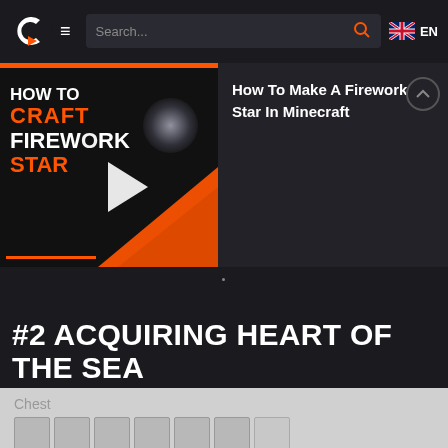Search... EN
[Figure (screenshot): Video thumbnail showing 'HOW TO CRAFT FIREWORK STAR' text with orange and white bold typography on dark background with orange arrow shape and blurred firework star image]
How To Make A Firework Star In Minecraft
#2 ACQUIRING HEART OF THE SEA
Chest